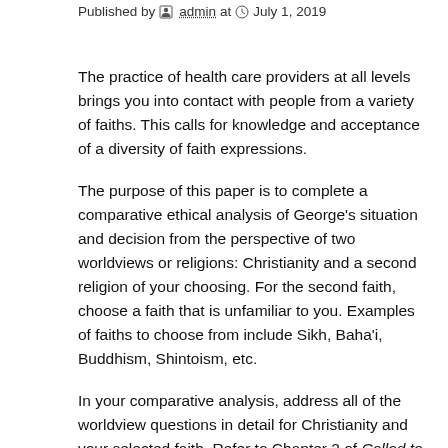Published by admin at July 1, 2019
The practice of health care providers at all levels brings you into contact with people from a variety of faiths. This calls for knowledge and acceptance of a diversity of faith expressions.
The purpose of this paper is to complete a comparative ethical analysis of George's situation and decision from the perspective of two worldviews or religions: Christianity and a second religion of your choosing. For the second faith, choose a faith that is unfamiliar to you. Examples of faiths to choose from include Sikh, Baha'i, Buddhism, Shintoism, etc.
In your comparative analysis, address all of the worldview questions in detail for Christianity and your selected faith. Refer to Chapter 2 of Called to Care for the list of questions. Once you have outlined the worldview of each religion, begin your ethical analysis from each perspective.
In a minimum of 1,500-2,000 words, provide an ethical analysis based upon the different belief systems, reinforcing major themes with insights gained from your research, and answering the